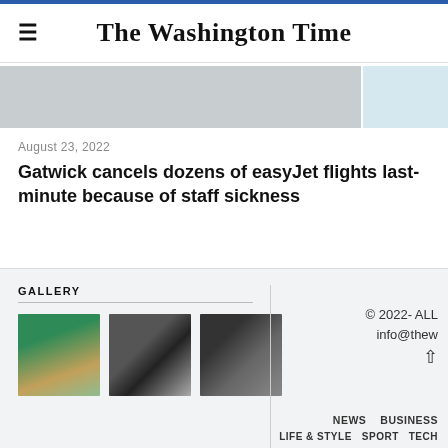The Washington Time
[Figure (photo): Hero image strip showing partial airplane/airport scene on left and light blue panel on right]
August 23, 2022
Gatwick cancels dozens of easyJet flights last-minute because of staff sickness
GALLERY
[Figure (photo): Aerial ocean/beach photo with green and sandy tones]
[Figure (photo): Black and white photo of a dog]
[Figure (photo): Close-up photo of an owl]
© 2022- ALL
info@thew
NEWS  BUSINESS
LIFE & STYLE  SPORT  TECH